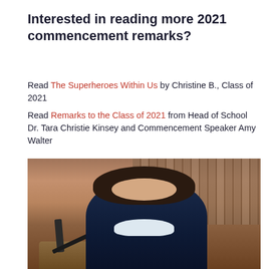Interested in reading more 2021 commencement remarks?
Read The Superheroes Within Us by Christine B., Class of 2021
Read Remarks to the Class of 2021 from Head of School Dr. Tara Christie Kinsey and Commencement Speaker Amy Walter
[Figure (photo): A young woman in a dark navy graduation gown with white collar speaks at a podium with a microphone. She has long dark hair. The background shows wooden organ pipes in a formal hall setting.]